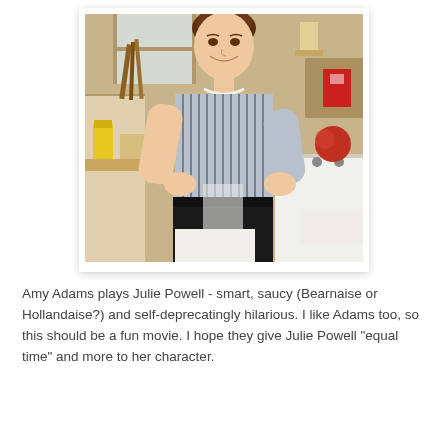[Figure (photo): A woman (Amy Adams as Julie Powell) standing in a vintage kitchen, wearing a striped blouse with a red brooch, pearl necklace, and black skirt. Kitchen items visible in background including utensils, stove, and various food items.]
Amy Adams plays Julie Powell - smart, saucy (Bearnaise or Hollandaise?) and self-deprecatingly hilarious. I like Adams too, so this should be a fun movie. I hope they give Julie Powell "equal time" and more to her character.